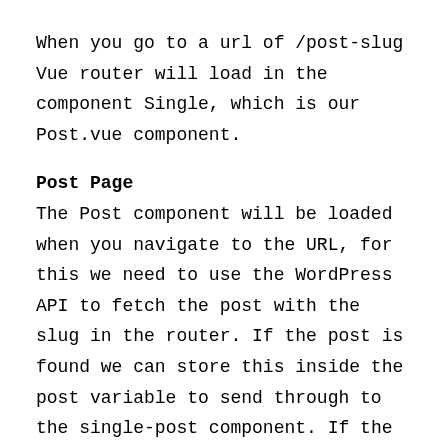When you go to a url of /post-slug Vue router will load in the component Single, which is our Post.vue component.
Post Page
The Post component will be loaded when you navigate to the URL, for this we need to use the WordPress API to fetch the post with the slug in the router. If the post is found we can store this inside the post variable to send through to the single-post component. If the post isn't found then we need to redirect the visitor to the 404 Not found page. Like the other Vue components, we can start with the template tag that will hold all the HTML for